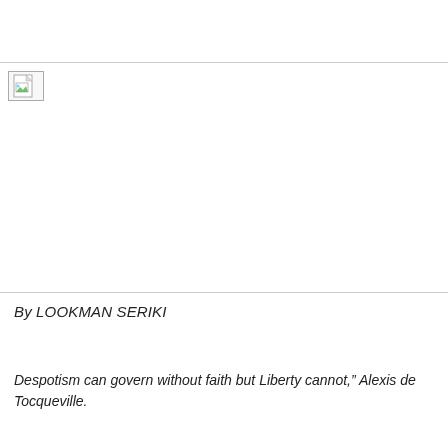[Figure (other): Broken image placeholder icon with a small document/page icon with green and white colors, shown in top-left area below a horizontal rule]
By LOOKMAN SERIKI
Despotism can govern without faith but Liberty cannot," Alexis de Tocqueville.